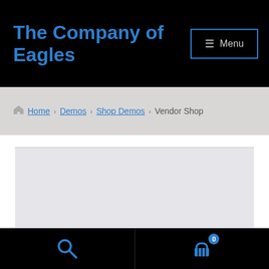The Company of Eagles
Home › Demos › Shop Demos › Vendor Shop
[Figure (screenshot): Light gray placeholder content box area]
Search icon and Cart icon with badge showing 0